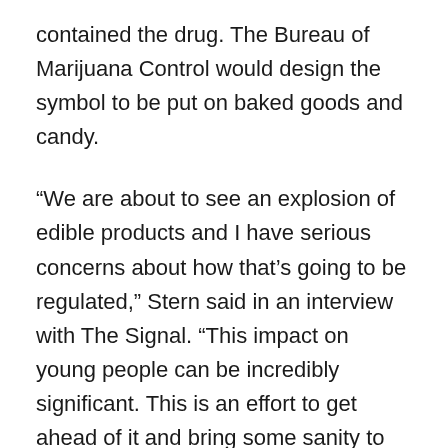contained the drug. The Bureau of Marijuana Control would design the symbol to be put on baked goods and candy.
“We are about to see an explosion of edible products and I have serious concerns about how that’s going to be regulated,” Stern said in an interview with The Signal. “This impact on young people can be incredibly significant. This is an effort to get ahead of it and bring some sanity to the cannabis industry.”
Tuesday, the Human Services Committee saw and passed SB 332, Stern’s initiative to equip foster youth who are nonminor dependents with the resources and paperwork needed to register to vote